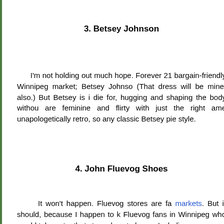3. Betsey Johnson
I'm not holding out much hope. Forever 21 bargain-friendly Winnipeg market; Betsey Johnson (That dress will be mine, also.) But Betsey is i die for, hugging and shaping the body withou are feminine and flirty with just the right am unapologetically retro, so any classic Betsey pie style.
4. John Fluevog Shoes
It won't happen. Fluevog stores are fa markets. But it should, because I happen to k Fluevog fans in Winnipeg who would take out a that store close to home. Including me.